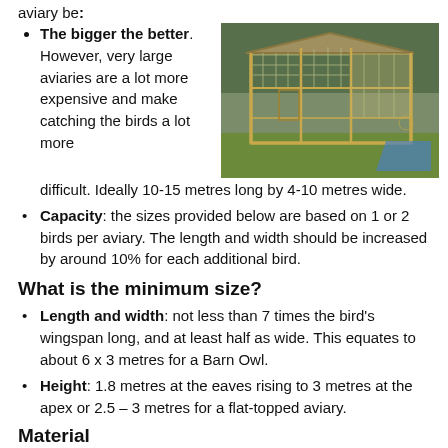The bigger the better. However, very large aviaries are a lot more expensive and make catching the birds a lot more difficult. Ideally 10-15 metres long by 4-10 metres wide.
[Figure (photo): A large wooden aviary structure with wire mesh panels, situated on grass with trees in the background.]
Capacity: the sizes provided below are based on 1 or 2 birds per aviary. The length and width should be increased by around 10% for each additional bird.
What is the minimum size?
Length and width: not less than 7 times the bird's wingspan long, and at least half as wide. This equates to about 6 x 3 metres for a Barn Owl.
Height: 1.8 metres at the eaves rising to 3 metres at the apex or 2.5 – 3 metres for a flat-topped aviary.
Material